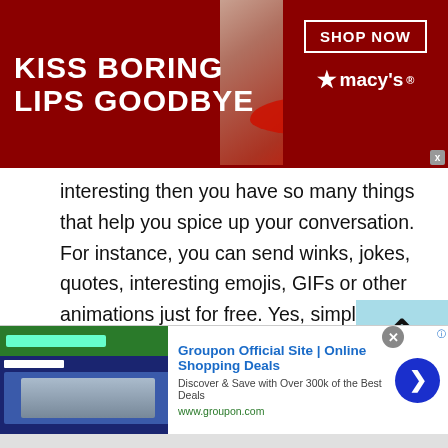[Figure (photo): Macy's advertisement banner: red background with 'KISS BORING LIPS GOODBYE' text, a woman's face with red lips in center, and 'SHOP NOW' button with Macy's logo on right]
interesting then you have so many things that help you spice up your conversation. For instance, you can send winks, jokes, quotes, interesting emojis, GIFs or other animations just for free. Yes, simply go to the fun and joke page at TWS where you can explore a list of exciting jokes and send them to your online friends or family. Not only this, you can share or play online games via texting online.
Voice chat
[Figure (screenshot): Groupon advertisement: shows Groupon website screenshot thumbnail, with title 'Groupon Official Site | Online Shopping Deals', description 'Discover & Save with Over 300k of the Best Deals', URL www.groupon.com, and a blue arrow button]